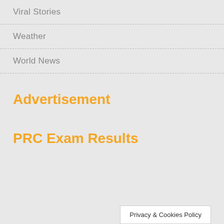Viral Stories
Weather
World News
Advertisement
PRC Exam Results
Privacy & Cookies Policy